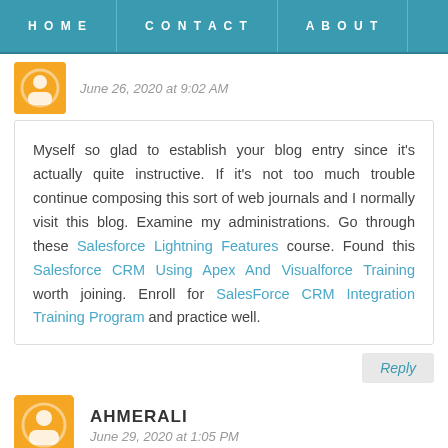HOME  CONTACT  ABOUT
June 26, 2020 at 9:02 AM
Myself so glad to establish your blog entry since it's actually quite instructive. If it's not too much trouble continue composing this sort of web journals and I normally visit this blog. Examine my administrations. Go through these Salesforce Lightning Features course. Found this Salesforce CRM Using Apex And Visualforce Training worth joining. Enroll for SalesForce CRM Integration Training Program and practice well.
Reply
AHMERALI
June 29, 2020 at 1:05 PM